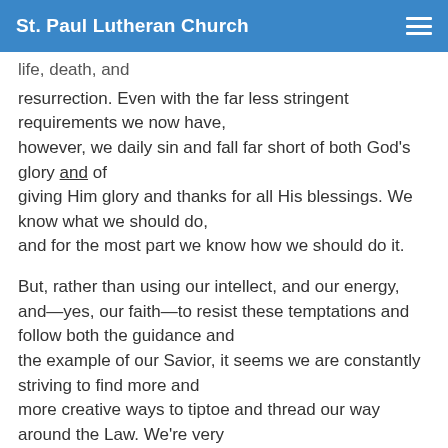St. Paul Lutheran Church
life, death, and resurrection. Even with the far less stringent requirements we now have, however, we daily sin and fall far short of both God's glory and of giving Him glory and thanks for all His blessings. We know what we should do, and for the most part we know how we should do it.
But, rather than using our intellect, and our energy, and—yes, our faith—to resist these temptations and follow both the guidance and the example of our Savior, it seems we are constantly striving to find more and more creative ways to tiptoe and thread our way around the Law. We're very